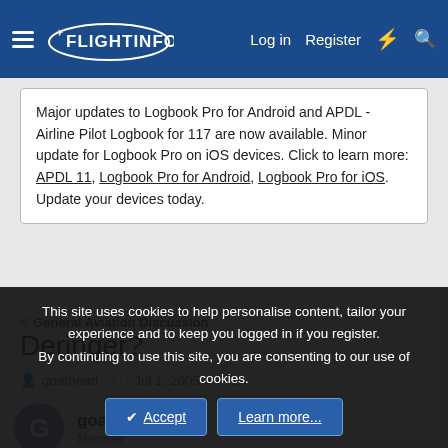FlightInfo — Log in  Register
Major updates to Logbook Pro for Android and APDL - Airline Pilot Logbook for 117 are now available. Minor update for Logbook Pro on iOS devices. Click to learn more: APDL 11, Logbook Pro for Android, Logbook Pro for iOS. Update your devices today.
< General Aviation Discussion
Deringer?
goathead · Jul 1, 2005 · 8
goathead
Member
This site uses cookies to help personalise content, tailor your experience and to keep you logged in if you register.
By continuing to use this site, you are consenting to our use of cookies.